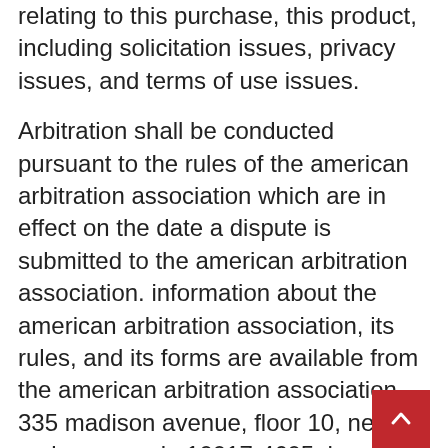relating to this purchase, this product, including solicitation issues, privacy issues, and terms of use issues.
Arbitration shall be conducted pursuant to the rules of the american arbitration association which are in effect on the date a dispute is submitted to the american arbitration association. information about the american arbitration association, its rules, and its forms are available from the american arbitration association, 335 madison avenue, floor 10, new york, new york, 10017-4605. hearing will take place in the city or county of the owner of this site.
In no case shall the viewer, visitor, member, subscriber or customer have the right to go to court or have a jury trial in or sit...